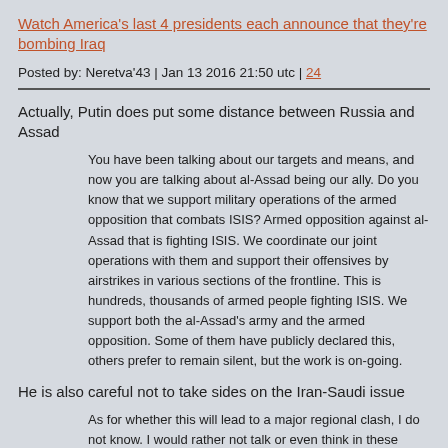Watch America's last 4 presidents each announce that they're bombing Iraq
Posted by: Neretva'43 | Jan 13 2016 21:50 utc | 24
Actually, Putin does put some distance between Russia and Assad
You have been talking about our targets and means, and now you are talking about al-Assad being our ally. Do you know that we support military operations of the armed opposition that combats ISIS? Armed opposition against al-Assad that is fighting ISIS. We coordinate our joint operations with them and support their offensives by airstrikes in various sections of the frontline. This is hundreds, thousands of armed people fighting ISIS. We support both the al-Assad's army and the armed opposition. Some of them have publicly declared this, others prefer to remain silent, but the work is on-going.
He is also careful not to take sides on the Iran-Saudi issue
As for whether this will lead to a major regional clash, I do not know. I would rather not talk or even think in these terms. We have very good relations with Iran and our partnership with Saudi Arabia is stable.